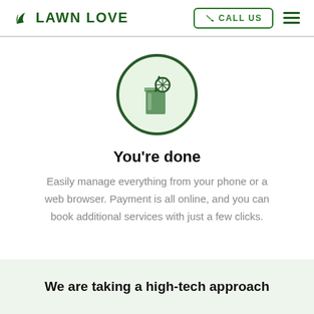LAWN LOVE | CALL US
[Figure (illustration): Circular icon with light green background showing a drink glass with a straw and lemon slice, outlined in dark green]
You're done
Easily manage everything from your phone or a web browser. Payment is all online, and you can book additional services with just a few clicks.
We are taking a high-tech approach